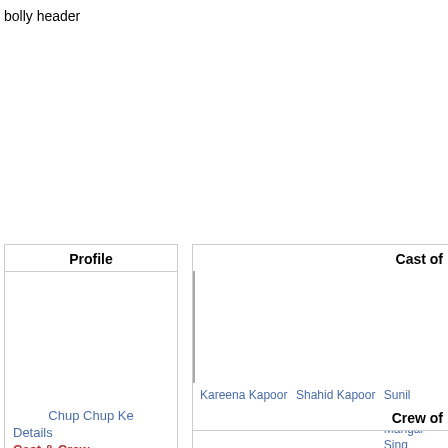bolly header
| Profile |
| --- |
| Chup Chup Ke |
| Details |
| Cast & Crew |
| Wallpaper |
| Cast of |
| --- |
| Kareena Kapoor as Shruti | Shahid Kapoor as Jeetu | Sunil Shetty (as Mangal Singh Chauhan (as Suniel Shetty |
| Crew of |
| --- |